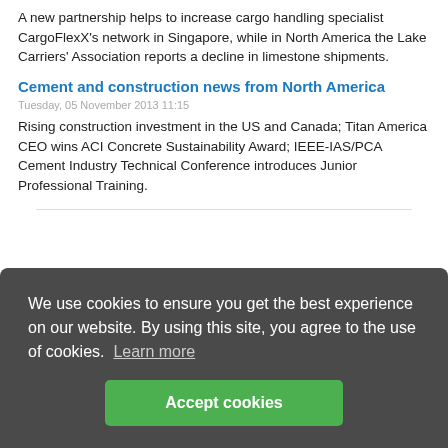A new partnership helps to increase cargo handling specialist CargoFlexX's network in Singapore, while in North America the Lake Carriers' Association reports a decline in limestone shipments.
Cement and construction news from North America
Tuesday, 05 November 2013 11:15
Rising construction investment in the US and Canada; Titan America CEO wins ACI Concrete Sustainability Award; IEEE-IAS/PCA Cement Industry Technical Conference introduces Junior Professional Training.
We use cookies to ensure you get the best experience on our website. By using this site, you agree to the use of cookies. Learn more
Accept cookies